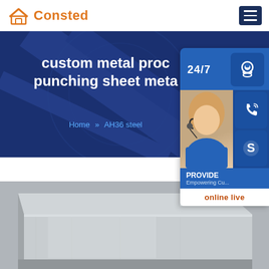Consted
[Figure (screenshot): Website banner with dark blue background showing text 'custom metal proc... punching sheet meta...' with breadcrumb 'Home >> AH36 steel' and floating sidebar with 24/7 chat, phone, Skype icons and 'online live' button]
custom metal proc... punching sheet meta...
Home » AH36 steel
[Figure (photo): Close-up photo of gray metal sheet/plate material at bottom of page]